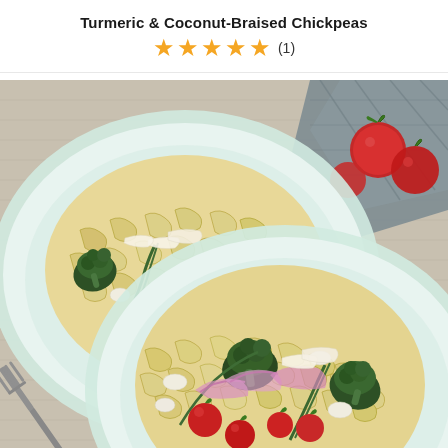Turmeric & Coconut-Braised Chickpeas
★★★★★ (1)
[Figure (photo): Two light blue plates of pasta (cavatappi/cellentani) with roasted broccoli, cherry tomatoes, white beans, shaved parmesan, and red onion on a gray woven placemat. Cherry tomatoes and a gray cloth napkin visible in top right corner. A fork is partially visible at bottom left.]